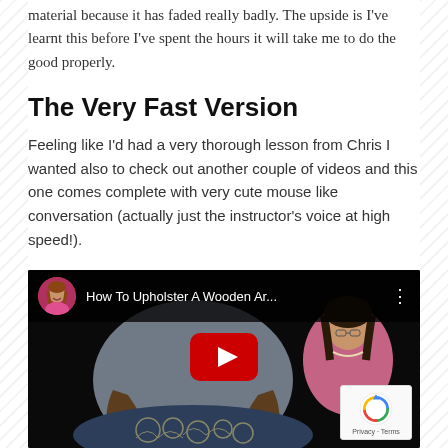material because it has faded really badly. The upside is I've learnt this before I've spent the hours it will take me to do the good properly.
The Very Fast Version
Feeling like I'd had a very thorough lesson from Chris I wanted also to check out another couple of videos and this one comes complete with very cute mouse like conversation (actually just the instructor's voice at high speed!).
[Figure (screenshot): YouTube video thumbnail showing 'How To Upholster A Wooden Ar...' with a channel avatar of a woman, a play button overlay, and a background image of a woman in a pink jacket next to an upholstered chair. A reCAPTCHA badge is visible in the bottom right corner.]